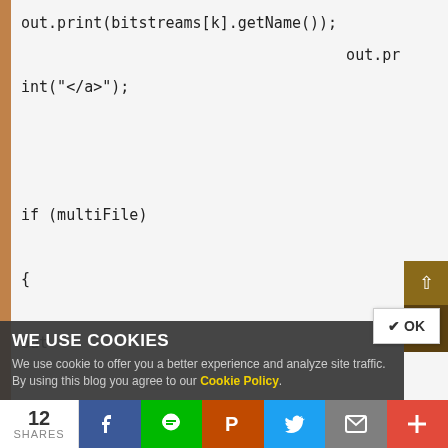out.print(bitstreams[k].getName());
                                    out.pr
int("</a>");



if (multiFile)

{

out

.print("</td><td headers=\"t2\" class=
\"standard\">");



String desc = bitstreams[k].getDescrip
tion();



if (desc != null && desc :
WE USE COOKIES
We use cookie to offer you a better experience and analyze site traffic. By using this blog you agree to our Cookie Policy.
12 SHARES